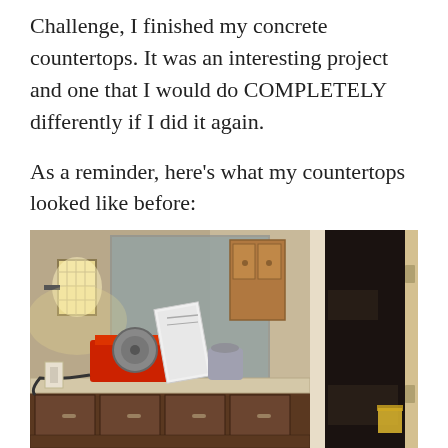Challenge, I finished my concrete countertops. It was an interesting project and one that I would do COMPLETELY differently if I did it again.
As a reminder, here’s what my countertops looked like before:
[Figure (photo): A bathroom/vanity area under renovation, showing dark wood cabinets with construction tools (a tile saw and other equipment) on the countertop, a wall-mounted light fixture with a Japanese-style shade on the left, a large mirror, an open doorway on the right leading to a dark room.]